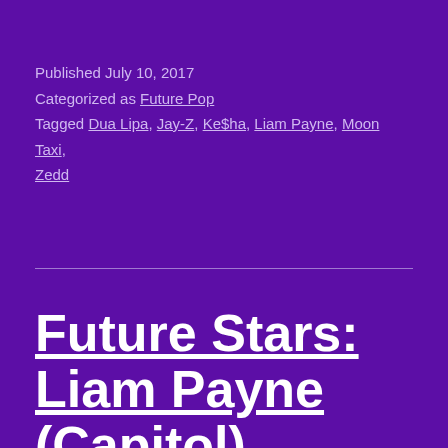Published July 10, 2017
Categorized as Future Pop
Tagged Dua Lipa, Jay-Z, Ke$ha, Liam Payne, Moon Taxi, Zedd
Future Stars: Liam Payne (Capitol)